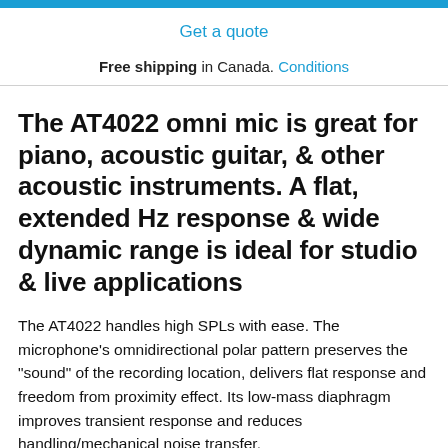Get a quote
Free shipping in Canada. Conditions
The AT4022 omni mic is great for piano, acoustic guitar, & other acoustic instruments. A flat, extended Hz response & wide dynamic range is ideal for studio & live applications
The AT4022 handles high SPLs with ease. The microphone's omnidirectional polar pattern preserves the "sound" of the recording location, delivers flat response and freedom from proximity effect. Its low-mass diaphragm improves transient response and reduces handling/mechanical noise transfer.